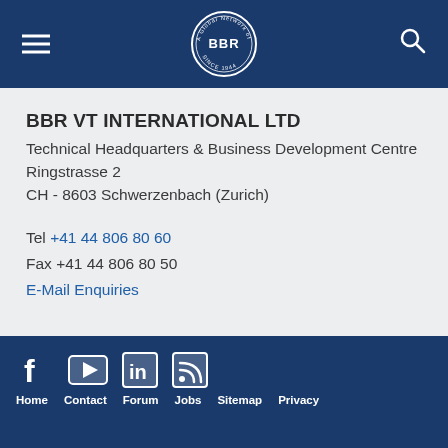[Figure (logo): BBR logo circular badge in white on dark blue header background, with hamburger menu icon on left and search icon on right]
BBR VT INTERNATIONAL LTD
Technical Headquarters & Business Development Centre
Ringstrasse 2
CH - 8603 Schwerzenbach (Zurich)
Tel +41 44 806 80 60
Fax +41 44 806 80 50
E-Mail Enquiries
Home  Contact  Forum  Jobs  Sitemap  Privacy